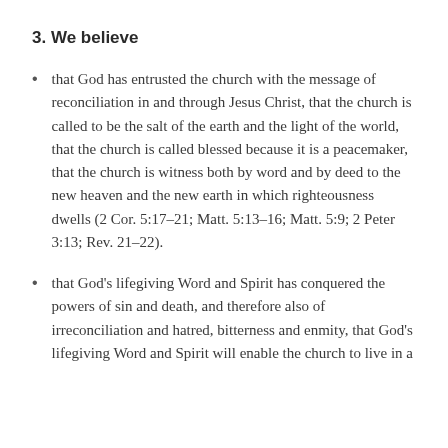3. We believe
that God has entrusted the church with the message of reconciliation in and through Jesus Christ, that the church is called to be the salt of the earth and the light of the world, that the church is called blessed because it is a peacemaker, that the church is witness both by word and by deed to the new heaven and the new earth in which righteousness dwells (2 Cor. 5:17-21; Matt. 5:13-16; Matt. 5:9; 2 Peter 3:13; Rev. 21-22).
that God's lifegiving Word and Spirit has conquered the powers of sin and death, and therefore also of irreconciliation and hatred, bitterness and enmity, that God's lifegiving Word and Spirit will enable the church to live in a